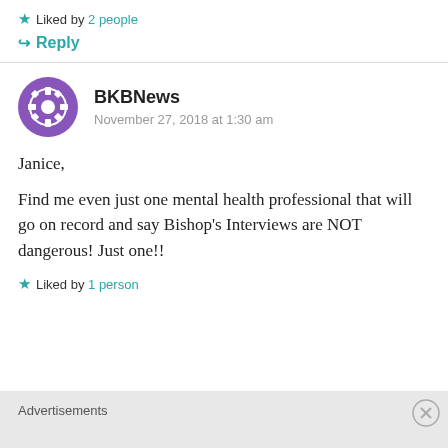Liked by 2 people
Reply
BKBNews
November 27, 2018 at 1:30 am
Janice,

Find me even just one mental health professional that will go on record and say Bishop's Interviews are NOT dangerous! Just one!!
Liked by 1 person
Advertisements